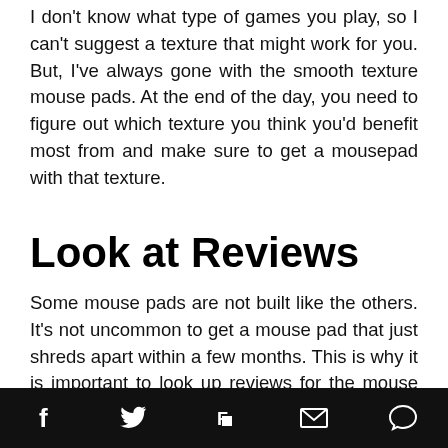I don't know what type of games you play, so I can't suggest a texture that might work for you. But, I've always gone with the smooth texture mouse pads. At the end of the day, you need to figure out which texture you think you'd benefit most from and make sure to get a mousepad with that texture.
Look at Reviews
Some mouse pads are not built like the others. It's not uncommon to get a mouse pad that just shreds apart within a few months. This is why it is important to look up reviews for the mouse pads you are interested in. Most people will mention how durable the mouse pad is as well as the down sides of the product. Looking up reviews is
Social share icons: Facebook, Twitter, Flipboard, Email, Comment